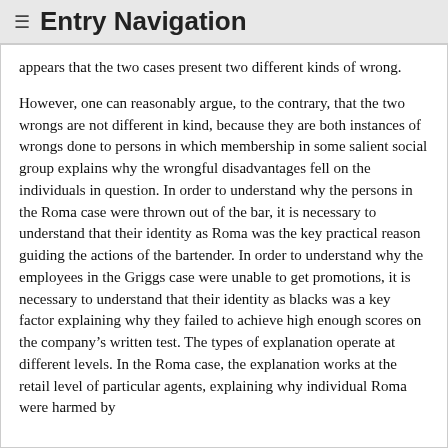≡ Entry Navigation
appears that the two cases present two different kinds of wrong.
However, one can reasonably argue, to the contrary, that the two wrongs are not different in kind, because they are both instances of wrongs done to persons in which membership in some salient social group explains why the wrongful disadvantages fell on the individuals in question. In order to understand why the persons in the Roma case were thrown out of the bar, it is necessary to understand that their identity as Roma was the key practical reason guiding the actions of the bartender. In order to understand why the employees in the Griggs case were unable to get promotions, it is necessary to understand that their identity as blacks was a key factor explaining why they failed to achieve high enough scores on the company's written test. The types of explanation operate at different levels. In the Roma case, the explanation works at the retail level of particular agents, explaining why individual Roma were harmed by